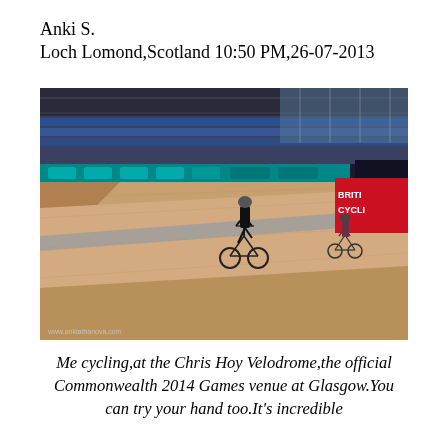Anki S.
Loch Lomond,Scotland 10:50 PM,26-07-2013
[Figure (photo): Two cyclists riding on the steeply banked wooden track inside the Chris Hoy Velodrome in Glasgow. The arena has rows of blue seats visible at the top, teal sponsor banners along the track boundary, and a British Cycling sign partially visible at the right. A watermark reads www.ankiathanova.com at the bottom left.]
Me cycling,at the Chris Hoy Velodrome,the official Commonwealth 2014 Games venue at Glasgow.You can try your hand too.It's incredible